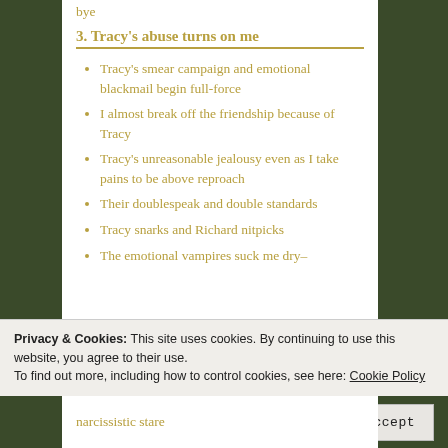bye
3. Tracy's abuse turns on me
Tracy's smear campaign and emotional blackmail begin full-force
I almost break off the friendship because of Tracy
Tracy's unreasonable jealousy even as I take pains to be above reproach
Their doublespeak and double standards
Tracy snarks and Richard nitpicks
The emotional vampires suck me dry–
Privacy & Cookies: This site uses cookies. By continuing to use this website, you agree to their use. To find out more, including how to control cookies, see here: Cookie Policy
Close and accept
narcissistic stare